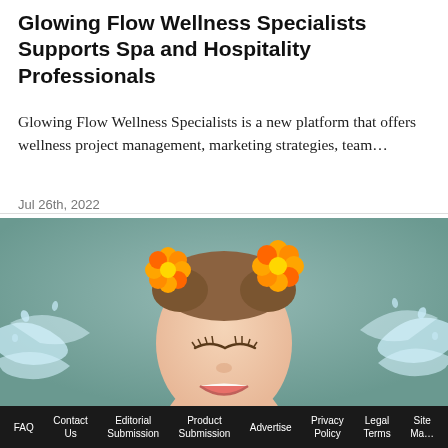Glowing Flow Wellness Specialists Supports Spa and Hospitality Professionals
Glowing Flow Wellness Specialists is a new platform that offers wellness project management, marketing strategies, team…
Jul 26th, 2022
[Figure (photo): Woman with orange flowers in her hair, eyes closed, smiling, with water splashing across her face, against a teal/sage green background]
FAQ  Contact Us  Editorial Submission  Product Submission  Advertise  Privacy Policy  Legal Terms  Site Ma[p]